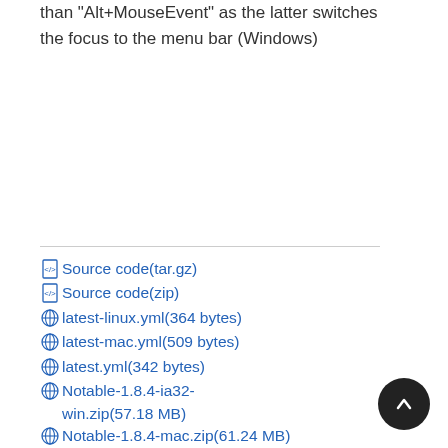than "Alt+MouseEvent" as the latter switches the focus to the menu bar (Windows)
Source code(tar.gz)
Source code(zip)
latest-linux.yml(364 bytes)
latest-mac.yml(509 bytes)
latest.yml(342 bytes)
Notable-1.8.4-ia32-win.zip(57.18 MB)
Notable-1.8.4-mac.zip(61.24 MB)
Notable-1.8.4-win.zip(59.96 MB)
Notable-1.8.4.AppImage(69.05 MB)